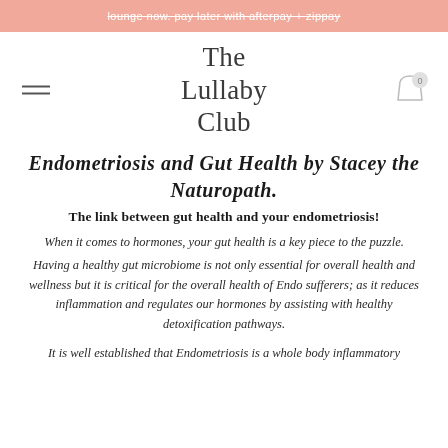lounge now. pay later with afterpay + zippay
[Figure (logo): The Lullaby Club logo in serif text, with hamburger menu icon on left and cart icon with 0 badge on right]
Endometriosis and Gut Health by Stacey the Naturopath.
The link between gut health and your endometriosis!
When it comes to hormones, your gut health is a key piece to the puzzle.
Having a healthy gut microbiome is not only essential for overall health and wellness but it is critical for the overall health of Endo sufferers; as it reduces inflammation and regulates our hormones by assisting with healthy detoxification pathways.
It is well established that Endometriosis is a whole body inflammatory